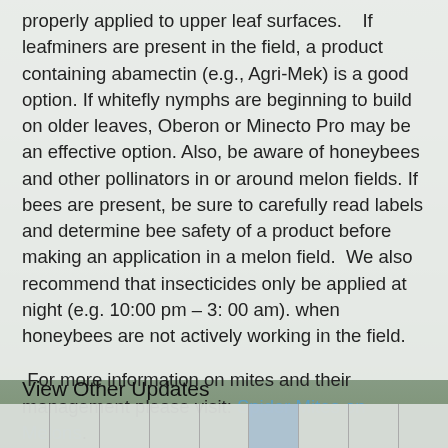properly applied to upper leaf surfaces.    If leafminers are present in the field, a product containing abamectin (e.g., Agri-Mek) is a good option. If whitefly nymphs are beginning to build on older leaves, Oberon or Minecto Pro may be an effective option. Also, be aware of honeybees and other pollinators in or around melon fields. If bees are present, be sure to carefully read labels and determine bee safety of a product before making an application in a melon field.  We also recommend that insecticides only be applied at night (e.g. 10:00 pm – 3: 00 am). when honeybees are not actively working in the field.
For more information on mites and their management please visit: Spider Mites on Melons.
To contact John Palumbo go to:
jpalumbo@ag.Arizona.edu
View Other Updates